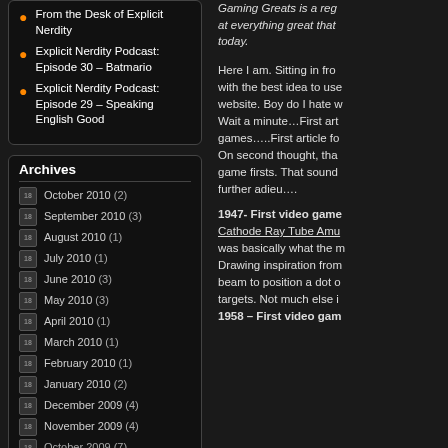From the Desk of Explicit Nerdity
Explicit Nerdity Podcast: Episode 30 – Batmario
Explicit Nerdity Podcast: Episode 29 – Speaking English Good
Archives
October 2010 (2)
September 2010 (3)
August 2010 (1)
July 2010 (1)
June 2010 (3)
May 2010 (3)
April 2010 (1)
March 2010 (1)
February 2010 (1)
January 2010 (2)
December 2009 (4)
November 2009 (4)
Gaming Greats is a reg... at everything great that... today.
Here I am. Sitting in fro... with the best idea to use... website. Boy do I hate w... Wait a minute…First art... games…..First article fo... On second thought, tha... game firsts. That sound... further adieu….
1947- First video game... Cathode Ray Tube Amu... was basically what the m... Drawing inspiration from... beam to position a dot o... targets. Not much else i...
1958 – First video gam...